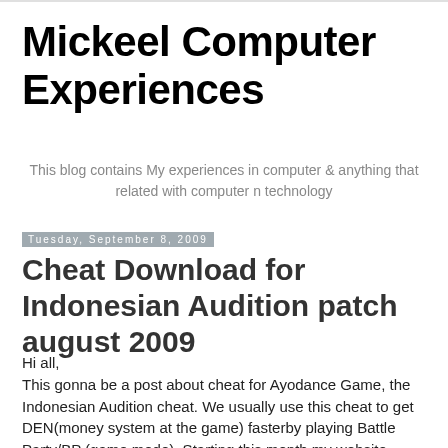Mickeel Computer Experiences
This blog contains My experiences in computer & anything that related with computer n technology
Tuesday, September 8, 2009
Cheat Download for Indonesian Audition patch august 2009
Hi all,
This gonna be a post about cheat for Ayodance Game, the Indonesian Audition cheat. We usually use this cheat to get DEN(money system at the game) fasterby playing Battle Party/BP (game mode). Starting this month my website ~ http://i.DoReMiMu.com/ ~ will be adding the this new feature, so Cheater can find Ayodance cheat easier and for FREE.